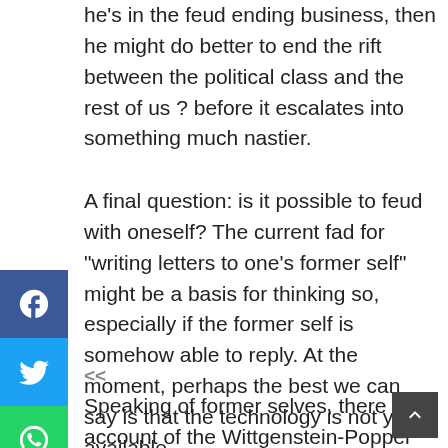he's in the feud ending business, then he might do better to end the rift between the political class and the rest of us ? before it escalates into something much nastier.
A final question: is it possible to feud with oneself? The current fad for 'writing letters to one's former self' might be a basis for thinking so, especially if the former self is somehow able to reply. At the moment, perhaps the best we can say is that the technology is not yet available.
<<
Speaking of former selves, there is an account of the Wittgenstein-Popper affair here. And if anyone is interested in how to start a musical feud, then you could do worse than kick off with advice from the Vinyl Mystic.